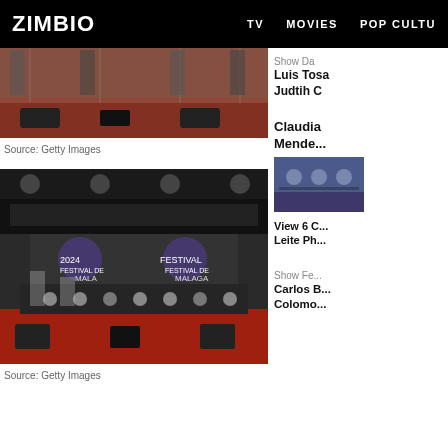ZIMBIO   TV   MOVIES   POP CULTU
[Figure (photo): Top photo showing people on a stage with red carpet and audio equipment, from Getty Images]
Source: Getty Images
Show Da
Luis Tosa
Judtih C
Claudia
Mende...
[Figure (photo): Group photo at Festival de Malaga 24, with many people seated and standing in front of a branded backdrop]
Source: Getty Images
[Figure (photo): Small thumbnail image of crowd at an event]
View 6 C...
Leite Ph...
Show Fe...
Carlos B...
Colomo...